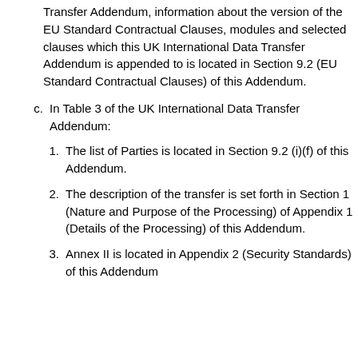Transfer Addendum, information about the version of the EU Standard Contractual Clauses, modules and selected clauses which this UK International Data Transfer Addendum is appended to is located in Section 9.2 (EU Standard Contractual Clauses) of this Addendum.
c. In Table 3 of the UK International Data Transfer Addendum:
1. The list of Parties is located in Section 9.2 (i)(f) of this Addendum.
2. The description of the transfer is set forth in Section 1 (Nature and Purpose of the Processing) of Appendix 1 (Details of the Processing) of this Addendum.
3. Annex II is located in Appendix 2 (Security Standards) of this Addendum